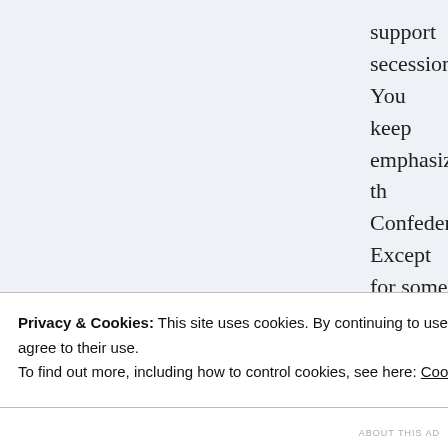support secession. You keep emphasizing the Confederation. Except for some Anti-Federalists objecting to Philly Convention's exceeding its instructions, there was no contemporary controversy in the historical record about the summary dismissal of the Articles of Confederation by modern scholars. You insist the Rakove dissents — go look at what he says. But barring that, the illegality of the Confederation is a non-issue.
If the Founders had wanted to create a mere confederation, could have and would have done so. As Ma...
It is fortunate when disputed theories...
Privacy & Cookies: This site uses cookies. By continuing to use this website, you agree to their use.
To find out more, including how to control cookies, see here: Cookie Policy
Close and accept